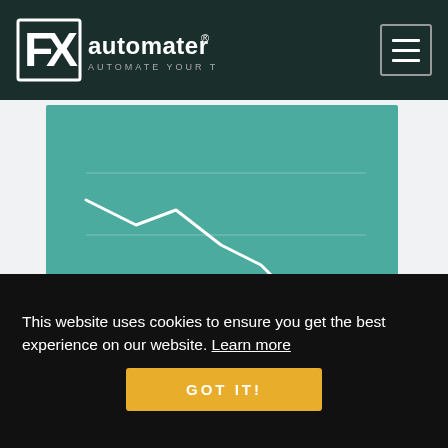[Figure (logo): FX Automater logo — white box with FX text on dark teal header, with hamburger menu icon on right]
[Figure (line-chart): Teal background line chart showing a descending then slightly recovering white line with a gold dot marker at the low point]
MODERATE RISK
This website uses cookies to ensure you get the best experience on our website. Learn more
GOT IT!